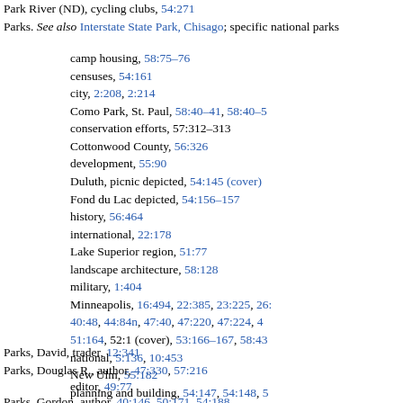Park River (ND), cycling clubs, 54:271
Parks. See also Interstate State Park, Chisago; specific national parks
camp housing, 58:75–76
censuses, 54:161
city, 2:208, 2:214
Como Park, St. Paul, 58:40–41, 58:40–5
conservation efforts, 57:312–313
Cottonwood County, 56:326
development, 55:90
Duluth, picnic depicted, 54:145 (cover)
Fond du Lac depicted, 54:156–157
history, 56:464
international, 22:178
Lake Superior region, 51:77
landscape architecture, 58:128
military, 1:404
Minneapolis, 16:494, 22:385, 23:225, 26: 40:48, 44:84n, 47:40, 47:220, 47:224, 4 51:164, 52:1 (cover), 53:166–167, 58:43
national, 5:136, 10:453
New Ulm, 55:182
planning and building, 54:147, 54:148, 5
railroad, 55:310–311
St. Paul, 12:458, 15:149, 17:311, 23:403 40:45, 40:253, 42:27, 49:289–49:290, 52
sculptures, 55:364–55:365, 55:366, 55:3
Skyline Parkway and roads, 54:158
snowshoer and daughter depicted, 56:4
state, 1:531, 5:109, 5:137, 10:346, 10:45
Twin Cities, 49:281–49:291, 57:384
Parks, David, trader, 12:341
Parks, Douglas R., author, 47:330, 57:216
editor, 49:77
Parks, Gordon, author, 40:146, 50:171, 54:188
photographer, 51:241